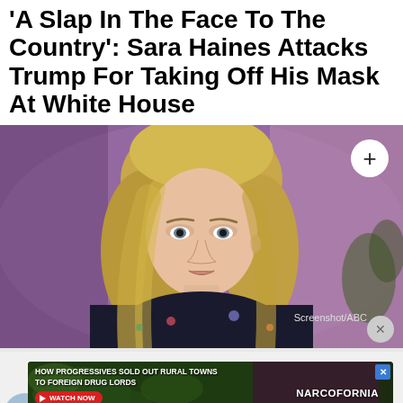'A Slap In The Face To The Country': Sara Haines Attacks Trump For Taking Off His Mask At White House
[Figure (screenshot): Screenshot of Sara Haines on a TV show set with purple/pink background, with a white plus button overlay in top right corner. Screenshot/ABC label and close button at bottom right.]
[Figure (screenshot): Advertisement for Narcofornia documentary: 'How Progressives Sold Out Rural Towns To Foreign Drug Lords' with a Watch Now button and green leafy background, with X close button.]